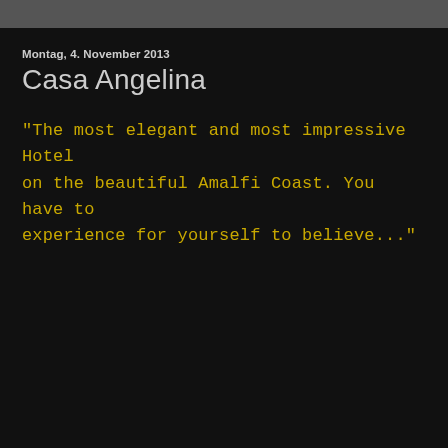Montag, 4. November 2013
Casa Angelina
"The most elegant and most impressive Hotel on the beautiful Amalfi Coast. You have to experience for yourself to believe..."